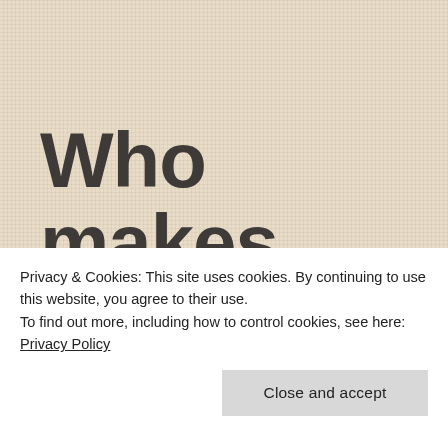Who makes your Supermarket Wine S/A
Privacy & Cookies: This site uses cookies. By continuing to use this website, you agree to their use.
To find out more, including how to control cookies, see here: Privacy Policy
Close and accept
Amber LeBeau in Shopping for Wine, Wine Knowledge,